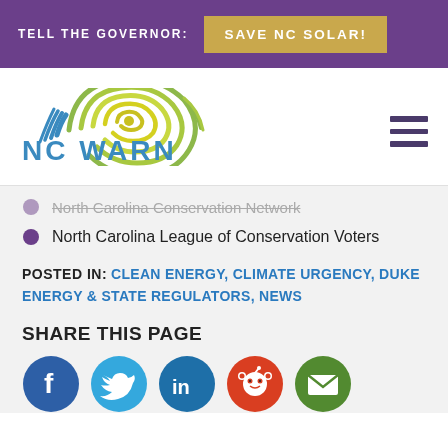TELL THE GOVERNOR: SAVE NC SOLAR!
[Figure (logo): NC WARN logo - North Carolina outline shape with concentric circles in green/yellow, with 'NC WARN' text below in blue-green]
North Carolina Conservation Network
North Carolina League of Conservation Voters
POSTED IN: CLEAN ENERGY, CLIMATE URGENCY, DUKE ENERGY & STATE REGULATORS, NEWS
SHARE THIS PAGE
[Figure (infographic): Social share icons: Facebook (dark blue), Twitter (light blue), LinkedIn (dark blue), Reddit (red), Email (green)]